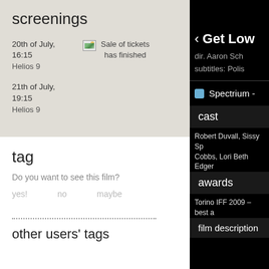screenings
20th of July, 16:15
Helios 9
[Figure (other): Broken image icon thumbnail]
Sale of tickets has finished
21th of July, 19:15
Helios 9
tag
Do you want to see this film?
yes!
no
maybe
other users' tags
Get Low
dir. Aaron Sch
subtitles: Polis
Spectrium -
cast
Robert Duvall, Sissy Sp
Cobbs, Lori Beth Edger
awards
Torino IFF 2009 – best a
film description